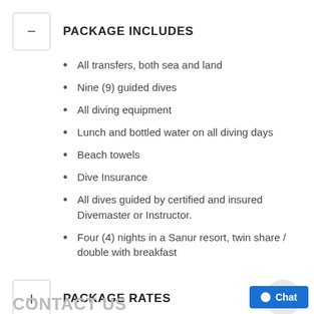PACKAGE INCLUDES
All transfers, both sea and land
Nine (9) guided dives
All diving equipment
Lunch and bottled water on all diving days
Beach towels
Dive Insurance
All dives guided by certified and insured Divemaster or Instructor.
Four (4) nights in a Sanur resort, twin share / double with breakfast
PACKAGE RATES
CONTACT US